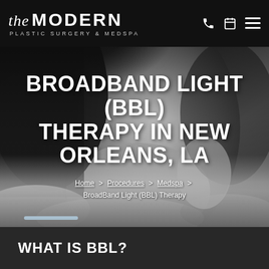the MODERN PLASTIC SURGERY & MEDSPA
[Figure (photo): Grayscale portrait of a woman with dark hair, touching her face, wearing white feathery/fur garment, used as hero background image]
BROADBAND LIGHT (BBL) THERAPY IN NEW ORLEANS, LA
Home > Procedures > Medspa > BroadBand Light (BBL) Therapy
WHAT IS BBL?